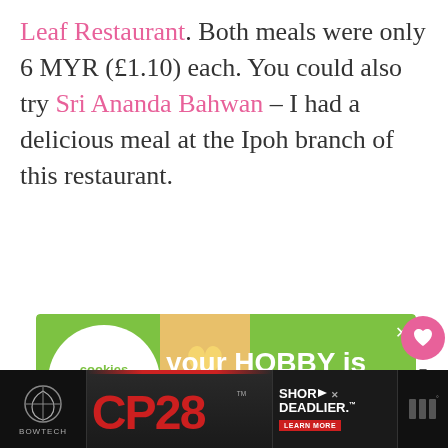Leaf Restaurant. Both meals were only 6 MYR (£1.10) each. You could also try Sri Ananda Bahwan – I had a delicious meal at the Ipoh branch of this restaurant.
[Figure (screenshot): Advertisement banner for 'cookies for kids cancer' with green background showing a person holding a heart-shaped cookie, text reads 'your HOBBY is their HOPE']
[Figure (screenshot): Bottom advertisement banner for Bowtech CP28 bow: 'SHOR DEADLIER. LEARN MORE' on dark background]